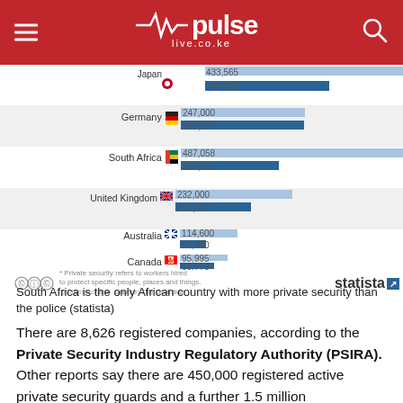pulse live.co.ke
[Figure (grouped-bar-chart): Private security vs police by country]
* Private security refers to workers hired to protect specific people, places and things. @Statistacharts  Source: The Guardian  statista
South Africa is the only African country with more private security than the police (statista)
There are 8,626 registered companies, according to the Private Security Industry Regulatory Authority (PSIRA). Other reports say there are 450,000 registered active private security guards and a further 1.5 million